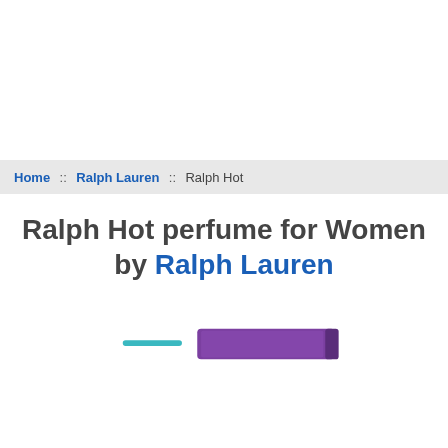Home :: Ralph Lauren :: Ralph Hot
Ralph Hot perfume for Women by Ralph Lauren
[Figure (photo): Product image area showing a teal horizontal line and a purple/violet perfume bottle lying on its side]